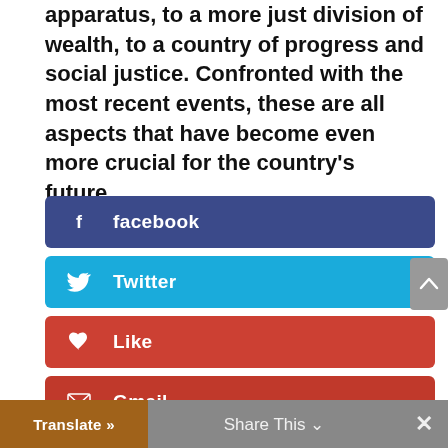apparatus, to a more just division of wealth, to a country of progress and social justice. Confronted with the most recent events, these are all aspects that have become even more crucial for the country's future.
[Figure (infographic): Social share buttons: Facebook (dark blue), Twitter (light blue), Like (red with heart icon), Gmail (dark red with envelope icon), and a scroll-up arrow button in grey]
Translate »   Share This ∨   ×